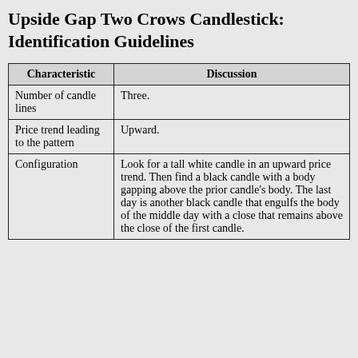Upside Gap Two Crows Candlestick: Identification Guidelines
| Characteristic | Discussion |
| --- | --- |
| Number of candle lines | Three. |
| Price trend leading to the pattern | Upward. |
| Configuration | Look for a tall white candle in an upward price trend. Then find a black candle with a body gapping above the prior candle's body. The last day is another black candle that engulfs the body of the middle day with a close that remains above the close of the first candle. |